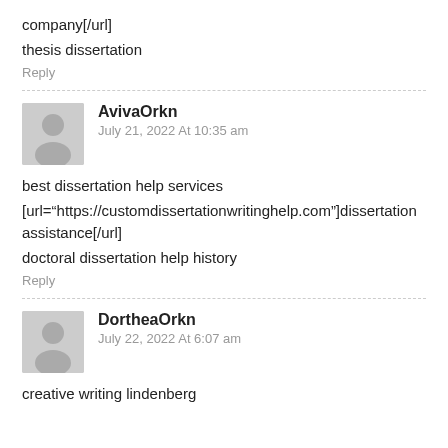company[/url]
thesis dissertation
Reply
AvivaOrkn
July 21, 2022 At 10:35 am
best dissertation help services
[url="https://customdissertationwritinghelp.com"]dissertation assistance[/url]
doctoral dissertation help history
Reply
DortheaOrkn
July 22, 2022 At 6:07 am
creative writing lindenberg